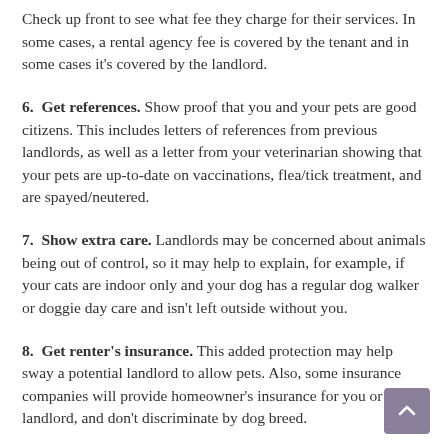Check up front to see what fee they charge for their services. In some cases, a rental agency fee is covered by the tenant and in some cases it's covered by the landlord.
6.  Get references. Show proof that you and your pets are good citizens. This includes letters of references from previous landlords, as well as a letter from your veterinarian showing that your pets are up-to-date on vaccinations, flea/tick treatment, and are spayed/neutered.
7.  Show extra care. Landlords may be concerned about animals being out of control, so it may help to explain, for example, if your cats are indoor only and your dog has a regular dog walker or doggie day care and isn't left outside without you.
8.  Get renter's insurance. This added protection may help sway a potential landlord to allow pets. Also, some insurance companies will provide homeowner's insurance for you or your landlord, and don't discriminate by dog breed.